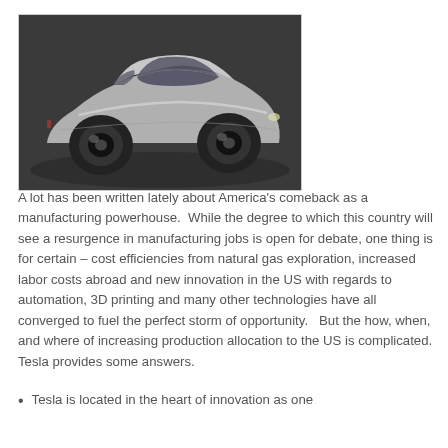[Figure (photo): Side view of a silver sports car (electric vehicle) on a dark background, shown in profile facing left.]
A lot has been written lately about America's comeback as a manufacturing powerhouse.  While the degree to which this country will see a resurgence in manufacturing jobs is open for debate, one thing is for certain – cost efficiencies from natural gas exploration, increased labor costs abroad and new innovation in the US with regards to automation, 3D printing and many other technologies have all converged to fuel the perfect storm of opportunity.   But the how, when, and where of increasing production allocation to the US is complicated.  Tesla provides some answers.
Tesla is located in the heart of innovation as one